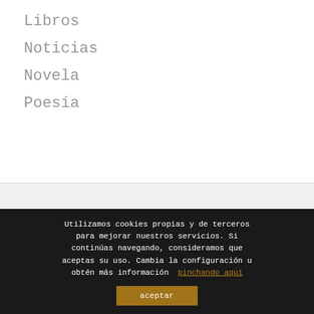Libros
Noticias
Novela
Poesía
Utilizamos cookies propias y de terceros para mejorar nuestros servicios. Si continúas navegando, consideramos que aceptas su uso. Cambia la configuración u obtén más información pinchando aquí
aceptar